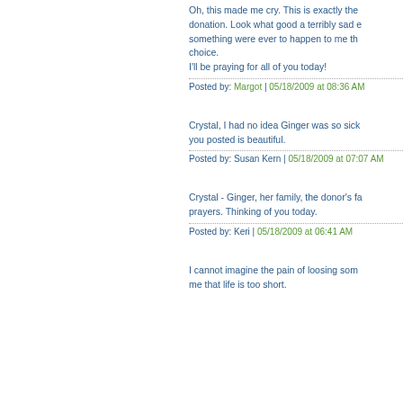Oh, this made me cry. This is exactly the donation. Look what good a terribly sad something were ever to happen to me th choice.
I'll be praying for all of you today!
Posted by: Margot | 05/18/2009 at 08:36 AM
Crystal, I had no idea Ginger was so sick you posted is beautiful.
Posted by: Susan Kern | 05/18/2009 at 07:07 AM
Crystal - Ginger, her family, the donor's fa prayers. Thinking of you today.
Posted by: Keri | 05/18/2009 at 06:41 AM
I cannot imagine the pain of loosing som me that life is too short.